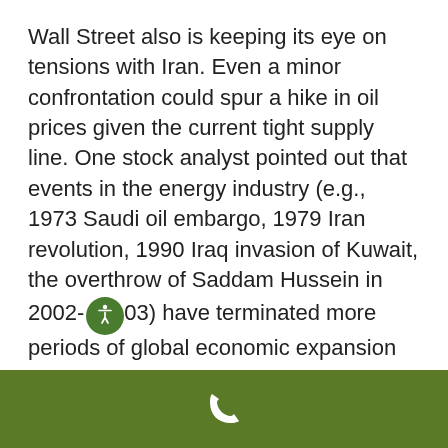Wall Street also is keeping its eye on tensions with Iran. Even a minor confrontation could spur a hike in oil prices given the current tight supply line. One stock analyst pointed out that events in the energy industry (e.g., 1973 Saudi oil embargo, 1979 Iran revolution, 1990 Iraq invasion of Kuwait, the overthrow of Saddam Hussein in 2002-03) have terminated more periods of global economic expansion than any other type of event throughout the last 40 years.⁵
[phone icon]